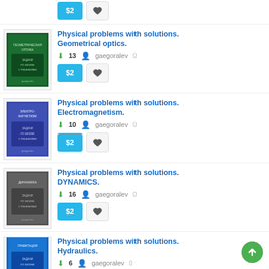[Figure (other): Partial top item with $2 price button and heart button]
Physical problems with solutions. Geometrical optics.
13 downloads, gaegoralev, rating 0
[Figure (other): Book cover for Geometrical optics]
Physical problems with solutions. Electromagnetism.
10 downloads, gaegoralev, rating 0
[Figure (other): Book cover for Electromagnetism]
Physical problems with solutions. DYNAMICS.
16 downloads, gaegoralev, rating 0
[Figure (other): Book cover for DYNAMICS]
Physical problems with solutions. Hydraulics.
6 downloads, gaegoralev, rating 0